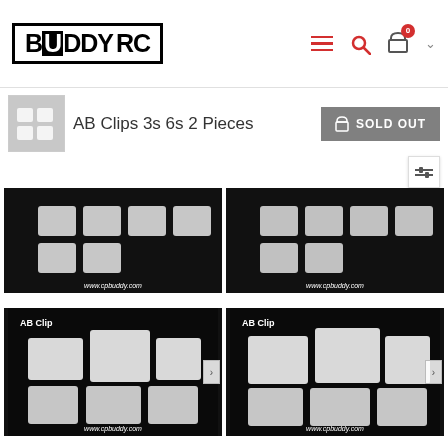[Figure (logo): BuddyRC logo in black bold font with border]
AB Clips 3s 6s 2 Pieces
SOLD OUT
[Figure (photo): AB Clips product image on black background with www.cpbuddy.com watermark, top left]
[Figure (photo): AB Clips product image on black background with www.cpbuddy.com watermark, top right]
[Figure (photo): AB Clip product photo showing white plastic clips on black background with AB Clip label and www.cpbuddy.com watermark, bottom left]
[Figure (photo): AB Clip product photo showing white plastic clips on black background with AB Clip label and www.cpbuddy.com watermark, bottom right]